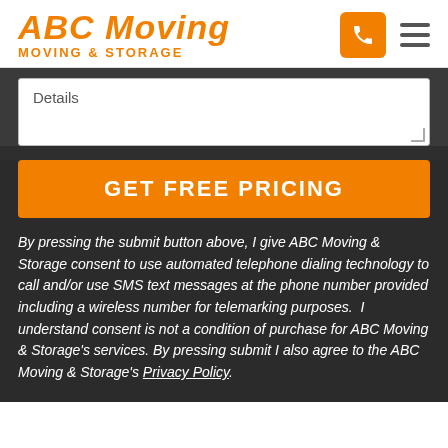ABC Moving MOVING & STORAGE
Details
GET FREE PRICING
By pressing the submit button above, I give ABC Moving & Storage consent to use automated telephone dialing technology to call and/or use SMS text messages at the phone number provided including a wireless number for telemarking purposes.  I understand consent is not a condition of purchase for ABC Moving & Storage's services. By pressing submit I also agree to the ABC Moving & Storage's Privacy Policy.